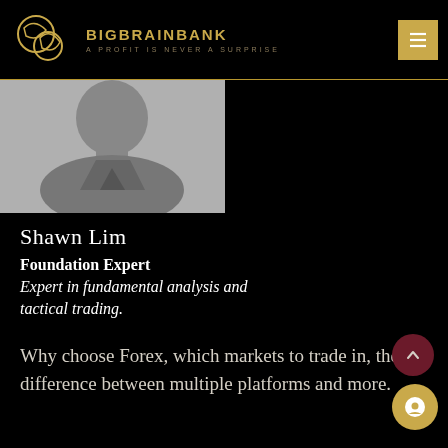BIGBRAINBANK — A PROFIT IS NEVER A SURPRISE
[Figure (photo): Partial profile photo of a person (head and shoulders silhouette) against grey background]
Shawn Lim
Foundation Expert
Expert in fundamental analysis and tactical trading.
Why choose Forex, which markets to trade in, the difference between multiple platforms and more.